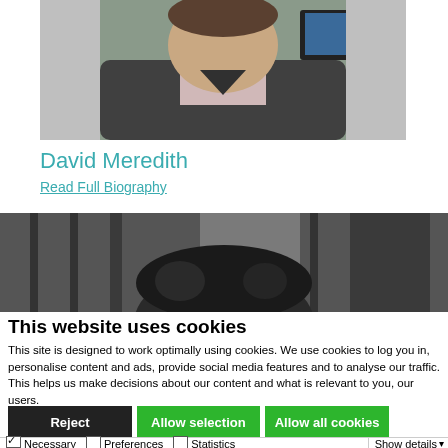[Figure (photo): Partial photo of a person (David Meredith) in a dark sweater and collared shirt, with a computer monitor visible in the background]
David Meredith
Read Full Biography
[Figure (photo): Black and white photo showing the top of a person's head with dark hair]
This website uses cookies
This site is designed to work optimally using cookies. We use cookies to log you in, personalise content and ads, provide social media features and to analyse our traffic. This helps us make decisions about our content and what is relevant to you, our users.
Reject
Allow selection
Allow all cookies
Necessary   Preferences   Statistics   Marketing   Show details